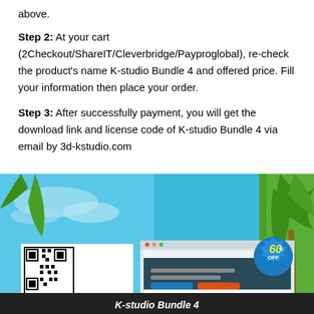above.
Step 2: At your cart (2Checkout/ShareIT/Cleverbridge/Payproglobal), re-check the product's name K-studio Bundle 4 and offered price. Fill your information then place your order.
Step 3: After successfully payment, you will get the download link and license code of K-studio Bundle 4 via email by 3d-kstudio.com
[Figure (screenshot): Screenshot of K-studio Bundle 4 product page showing 60% OFF badge, QR code, palm trees background, and product banner at bottom reading K-studio Bundle 4]